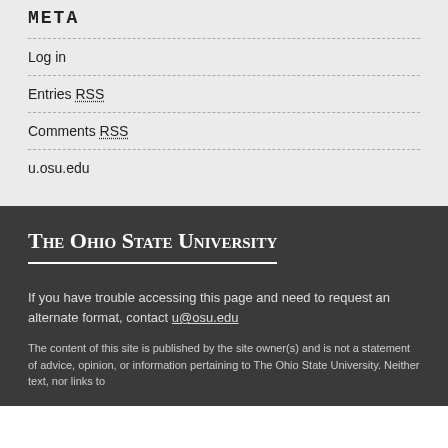META
Log in
Entries RSS
Comments RSS
u.osu.edu
The Ohio State University
If you have trouble accessing this page and need to request an alternate format, contact u@osu.edu
The content of this site is published by the site owner(s) and is not a statement of advice, opinion, or information pertaining to The Ohio State University. Neither text, nor links to